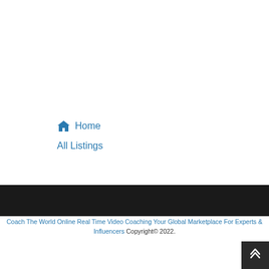🏠 Home
All Listings
Coach The World Online Real Time Video Coaching Your Global Marketplace For Experts & Influencers Copyright© 2022.